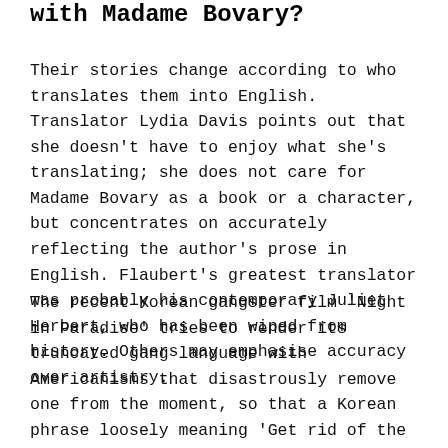with Madame Bovary?
Their stories change according to who translates them into English. Translator Lydia Davis points out that she doesn't have to enjoy what she's translating; she does not care for Madame Bovary as a book or a character, but concentrates on accurately reflecting the author's prose in English. Flaubert's greatest translator was probably his contemporary Juliet Herbert, who has been wiped from history. Others may emphasise accuracy over artistry.
The recent Korean gangster film 'Night in Paradise' tries to render its truncated gang language with Americanisms that disastrously remove one from the moment, so that a Korean phrase loosely meaning 'Get rid of the killer'